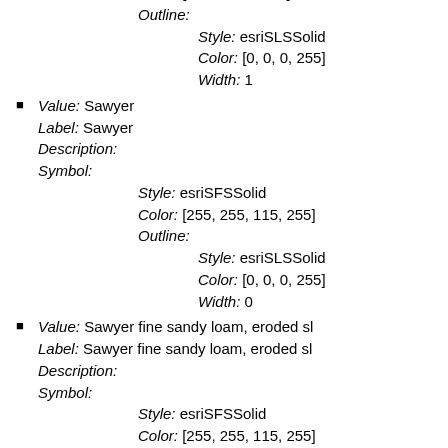Color: [115, 38, 0, 255]
Outline:
    Style: esriSLSSolid
    Color: [0, 0, 0, 255]
    Width: 1
Value: Sawyer
Label: Sawyer
Description:
Symbol:
    Style: esriSFSSolid
    Color: [255, 255, 115, 255]
    Outline:
        Style: esriSLSSolid
        Color: [0, 0, 0, 255]
        Width: 0
Value: Sawyer fine sandy loam, eroded sl
Label: Sawyer fine sandy loam, eroded sl
Description:
Symbol:
    Style: esriSFSSolid
    Color: [255, 255, 115, 255]
    Outline:
        Style: esriSLSSolid
        Color: [0, 0, 0, 255]
        Width: 1
Value: Sessum
Label: Sessum
Description: